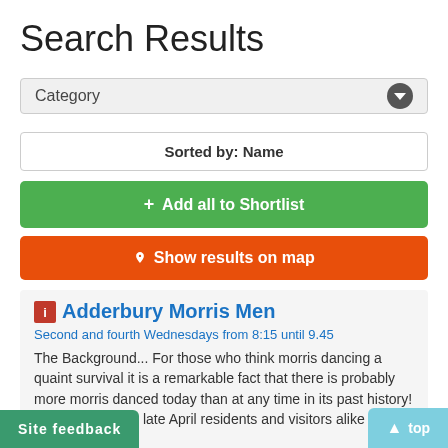Search Results
Category
Sorted by: Name
+ Add all to Shortlist
Show results on map
Adderbury Morris Men
Second and fourth Wednesdays from 8:15 until 9.45
The Background... For those who think morris dancing a quaint survival it is a remarkable fact that there is probably more morris danced today than at any time in its past history! On a Saturday in late April residents and visitors alike are able to…
Adderbury, OX17 3EE
Site feedback
top